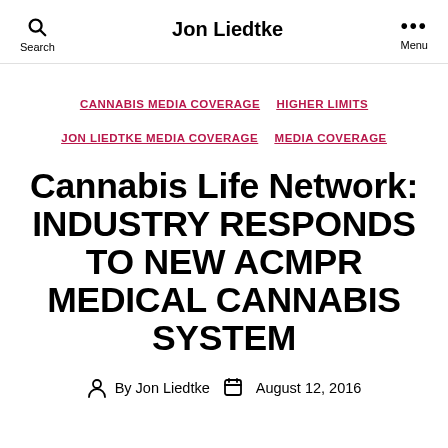Jon Liedtke
CANNABIS MEDIA COVERAGE   HIGHER LIMITS   JON LIEDTKE MEDIA COVERAGE   MEDIA COVERAGE
Cannabis Life Network: INDUSTRY RESPONDS TO NEW ACMPR MEDICAL CANNABIS SYSTEM
By Jon Liedtke   August 12, 2016